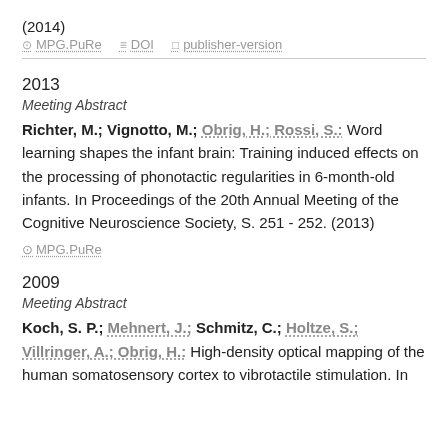(2014)
⊙ MPG.PuRe   ≡ DOI   □ publisher-version
2013
Meeting Abstract
Richter, M.; Vignotto, M.; Obrig, H.; Rossi, S.: Word learning shapes the infant brain: Training induced effects on the processing of phonotactic regularities in 6-month-old infants. In Proceedings of the 20th Annual Meeting of the Cognitive Neuroscience Society, S. 251 - 252. (2013)
⊙ MPG.PuRe
2009
Meeting Abstract
Koch, S. P.; Mehnert, J.; Schmitz, C.; Holtze, S.; Villringer, A.; Obrig, H.: High-density optical mapping of the human somatosensory cortex to vibrotactile stimulation. In